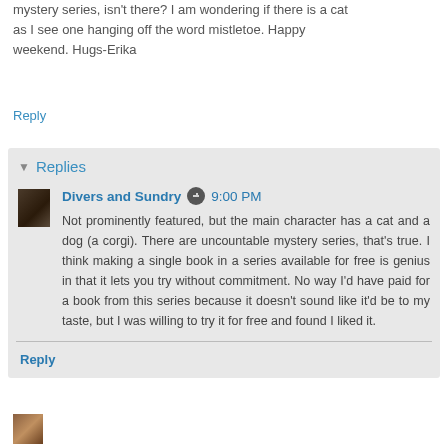mystery series, isn't there? I am wondering if there is a cat as I see one hanging off the word mistletoe. Happy weekend. Hugs-Erika
Reply
Replies
Divers and Sundry  9:00 PM
Not prominently featured, but the main character has a cat and a dog (a corgi). There are uncountable mystery series, that's true. I think making a single book in a series available for free is genius in that it lets you try without commitment. No way I'd have paid for a book from this series because it doesn't sound like it'd be to my taste, but I was willing to try it for free and found I liked it.
Reply